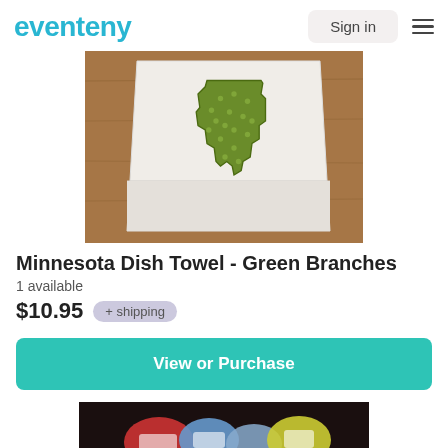eventeny  Sign in
[Figure (photo): Photo of a white dish towel with a green polka-dot fabric Minnesota state shape appliquéd on it, folded on a wooden surface.]
Minnesota Dish Towel - Green Branches
1 available
$10.95  + shipping
View or Purchase
[Figure (photo): Partial photo of colorful gift bags or wrapped items on a dark surface.]